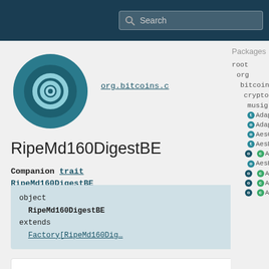Search
[Figure (logo): Circular logo with teal/dark teal rings and hollow center circle]
org.bitcoins.c
RipeMd160DigestBE
Companion trait RipeMd160DigestBE
object RipeMd160DigestBE extends Factory[RipeMd160Dig...
Linear Supertypes
Filter all members
Packages
root
org
bitcoins
crypto
musig
AdaptorSign
AdaptorUtil
AesCrypt
AesDecryptionException
AesEncryptedData
AesException
AesIV
AesKey
AesPassword